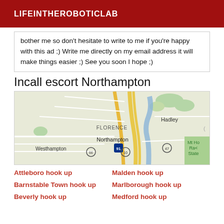LIFEINTHEROBOTICLAB
bother me so don't hesitate to write to me if you're happy with this ad ;) Write me directly on my email address it will make things easier ;) See you soon I hope ;)
Incall escort Northampton
[Figure (map): Google Maps view of Northampton area showing Florence, Hadley, Westhampton, Mt Holyoke Range State Park, and major roads including I-91, Route 47, Route 66, Route 10]
Attleboro hook up
Malden hook up
Barnstable Town hook up
Marlborough hook up
Beverly hook up
Medford hook up